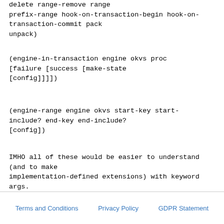delete range-remove range prefix-range hook-on-transaction-begin hook-on-transaction-commit pack unpack)
(engine-in-transaction engine okvs proc [failure [success [make-state [config]]]])
(engine-range engine okvs start-key start-include? end-key end-include? [config])
IMHO all of these would be easier to understand (and to make implementation-defined extensions) with keyword args.
Terms and Conditions   Privacy Policy   GDPR Statement